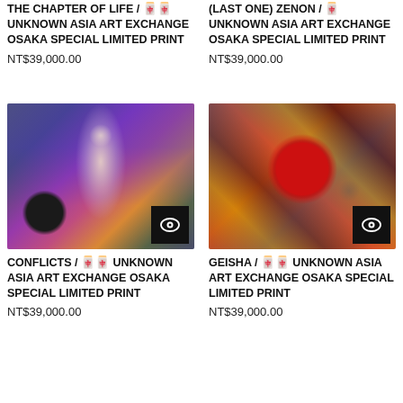THE CHAPTER OF LIFE / 🀄🀄 UNKNOWN ASIA ART EXCHANGE OSAKA SPECIAL LIMITED PRINT
NT$39,000.00
(LAST ONE) ZENON / 🀄 UNKNOWN ASIA ART EXCHANGE OSAKA SPECIAL LIMITED PRINT
NT$39,000.00
[Figure (photo): Colorful abstract art print showing a figure with purple/blue tones, mixed colors background]
CONFLICTS / 🀄🀄 UNKNOWN ASIA ART EXCHANGE OSAKA SPECIAL LIMITED PRINT
NT$39,000.00
[Figure (photo): Colorful abstract art print showing circular red motif with mixed earthy tones]
GEISHA / 🀄🀄 UNKNOWN ASIA ART EXCHANGE OSAKA SPECIAL LIMITED PRINT
NT$39,000.00